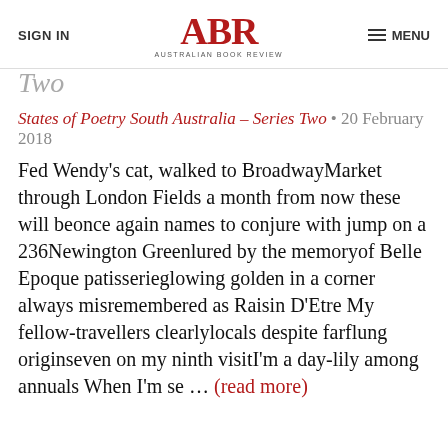SIGN IN | ABR Australian Book Review | MENU
Two
States of Poetry South Australia – Series Two • 20 February 2018
Fed Wendy's cat, walked to BroadwayMarket through London Fields a month from now these will beonce again names to conjure with jump on a 236Newington Greenlured by the memoryof Belle Epoque patisserieglowing golden in a corner always misremembered as Raisin D'Etre My fellow-travellers clearlylocals despite farflung originseven on my ninth visitI'm a day-lily among annuals When I'm se … (read more)